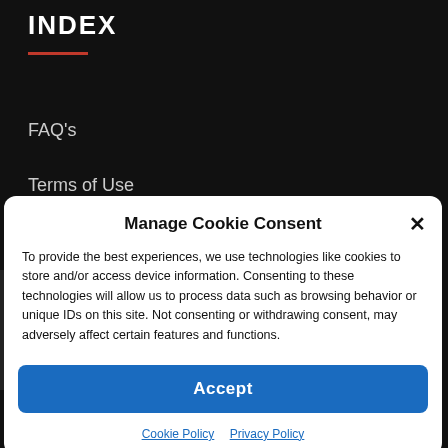INDEX
FAQ's
Terms of Use
Contact Us
Doping Regulation
Manage Cookie Consent
To provide the best experiences, we use technologies like cookies to store and/or access device information. Consenting to these technologies will allow us to process data such as browsing behavior or unique IDs on this site. Not consenting or withdrawing consent, may adversely affect certain features and functions.
Accept
Cookie Policy   Privacy Policy